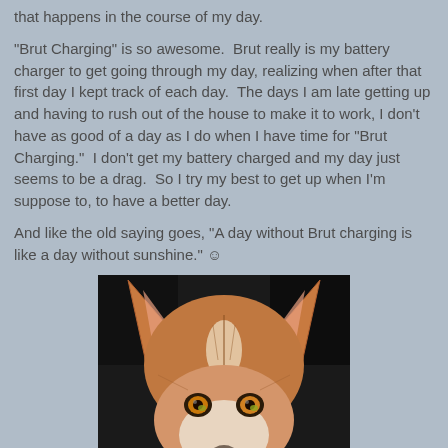that happens in the course of my day.
"Brut Charging" is so awesome.  Brut really is my battery charger to get going through my day, realizing when after that first day I kept track of each day.  The days I am late getting up and having to rush out of the house to make it to work, I don't have as good of a day as I do when I have time for "Brut Charging."  I don't get my battery charged and my day just seems to be a drag.  So I try my best to get up when I'm suppose to, to have a better day.
And like the old saying goes, "A day without Brut charging is like a day without sunshine." ☺
[Figure (photo): Close-up photo of a husky dog's face from above, showing the top of the head with large ears and golden/amber eyes looking up at the camera against a dark background.]